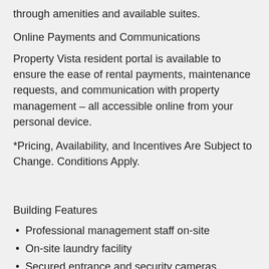through amenities and available suites.
Online Payments and Communications
Property Vista resident portal is available to ensure the ease of rental payments, maintenance requests, and communication with property management – all accessible online from your personal device.
*Pricing, Availability, and Incentives Are Subject to Change. Conditions Apply.
Building Features
Professional management staff on-site
On-site laundry facility
Secured entrance and security cameras
Pet friendly